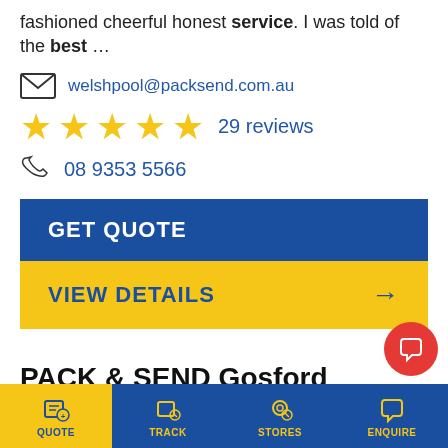fashioned cheerful honest service. I was told of the best …
welshpool@packsend.com.au
[Figure (other): Five gold stars rating with text '29 reviews']
08 9353 5566
GET QUOTE
VIEW DETAILS →
PACK & SEND Gosford
Unit 7, 4 Merinee Road, WEST GOSFORD, NSW, 2250
Central Coast: … services. Computers and electronic equipment requiring specialised
[Figure (other): Bottom navigation bar with QUOTE, TRACK, STORES, ENQUIRE icons on yellow and blue background]